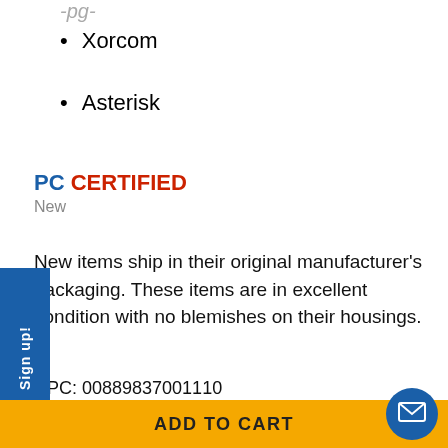Xorcom
Asterisk
[Figure (logo): PC CERTIFIED badge with blue 'PC' and red 'CERTIFIED' text, followed by gray 'New' subtitle]
New items ship in their original manufacturer's packaging. These items are in excellent condition with no blemishes on their housings.
UPC: 00889837001110
ATED ITEMS
ADD TO CART